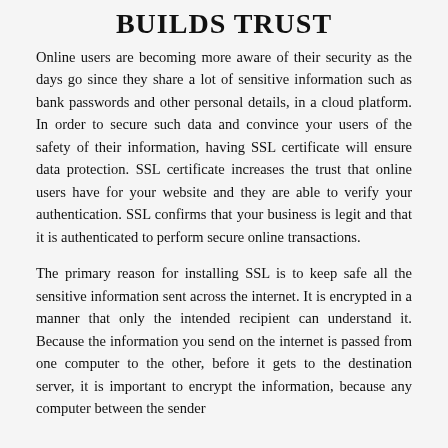BUILDS TRUST
Online users are becoming more aware of their security as the days go since they share a lot of sensitive information such as bank passwords and other personal details, in a cloud platform. In order to secure such data and convince your users of the safety of their information, having SSL certificate will ensure data protection. SSL certificate increases the trust that online users have for your website and they are able to verify your authentication. SSL confirms that your business is legit and that it is authenticated to perform secure online transactions.
The primary reason for installing SSL is to keep safe all the sensitive information sent across the internet. It is encrypted in a manner that only the intended recipient can understand it. Because the information you send on the internet is passed from one computer to the other, before it gets to the destination server, it is important to encrypt the information, because any computer between the sender